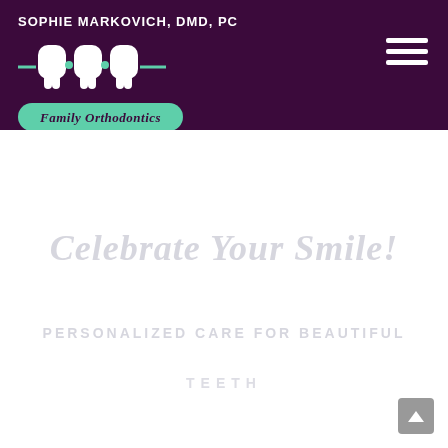[Figure (logo): Sophie Markovich DMD PC Family Orthodontics logo on dark purple header with three tooth shapes and teal pill-shaped banner]
Celebrate Your Smile!
PERSONALIZED CARE FOR BEAUTIFUL TEETH